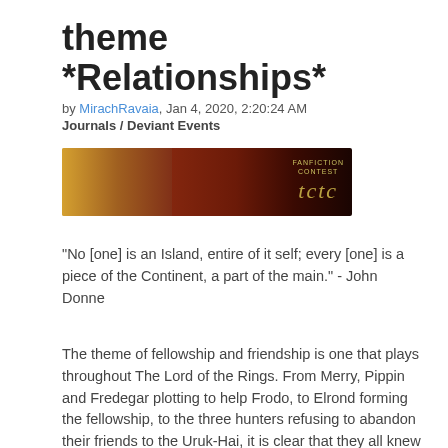theme *Relationships*
by MirachRavaia, Jan 4, 2020, 2:20:24 AM
Journals / Deviant Events
[Figure (illustration): A banner image for a fan-fiction contest ('fanfiction contest') with stylized text 'tctc', showing a person playing violin against a red/flame background]
"No [one] is an Island, entire of it self; every [one] is a piece of the Continent, a part of the main." - John Donne
The theme of fellowship and friendship is one that plays throughout The Lord of the Rings. From Merry, Pippin and Fredegar plotting to help Frodo, to Elrond forming the fellowship, to the three hunters refusing to abandon their friends to the Uruk-Hai, it is clear that they all knew the importance of depending on